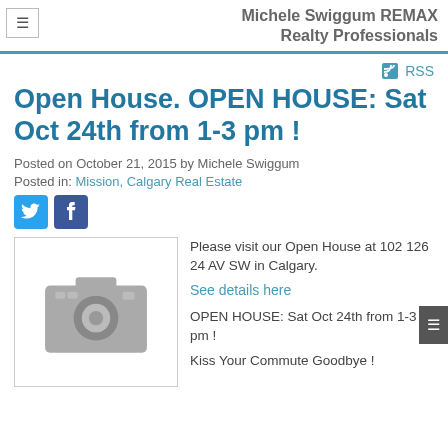Michele Swiggum REMAX Realty Professionals
RSS
Open House. OPEN HOUSE: Sat Oct 24th from 1-3 pm !
Posted on October 21, 2015 by Michele Swiggum
Posted in: Mission, Calgary Real Estate
[Figure (other): Social media icons: Twitter and Facebook]
[Figure (photo): Camera placeholder image (grey camera icon on white background)]
Please visit our Open House at 102 126 24 AV SW in Calgary.
See details here
OPEN HOUSE: Sat Oct 24th from 1-3 pm !
Kiss Your Commute Goodbye !